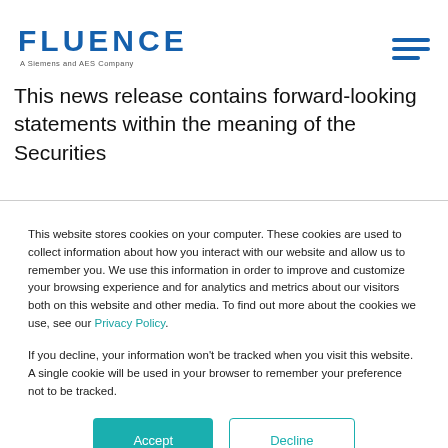FLUENCE — A Siemens and AES Company
This news release contains forward-looking statements within the meaning of the Securities
This website stores cookies on your computer. These cookies are used to collect information about how you interact with our website and allow us to remember you. We use this information in order to improve and customize your browsing experience and for analytics and metrics about our visitors both on this website and other media. To find out more about the cookies we use, see our Privacy Policy.
If you decline, your information won't be tracked when you visit this website. A single cookie will be used in your browser to remember your preference not to be tracked.